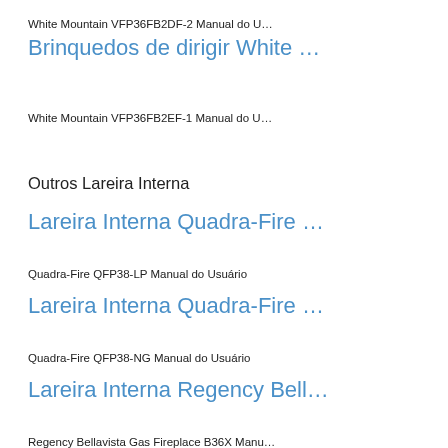White Mountain VFP36FB2DF-2 Manual do U…
Brinquedos de dirigir White …
White Mountain VFP36FB2EF-1 Manual do U…
Outros Lareira Interna
Lareira Interna Quadra-Fire …
Quadra-Fire QFP38-LP Manual do Usuário
Lareira Interna Quadra-Fire …
Quadra-Fire QFP38-NG Manual do Usuário
Lareira Interna Regency Bell…
Regency Bellavista Gas Fireplace B36X Manu…